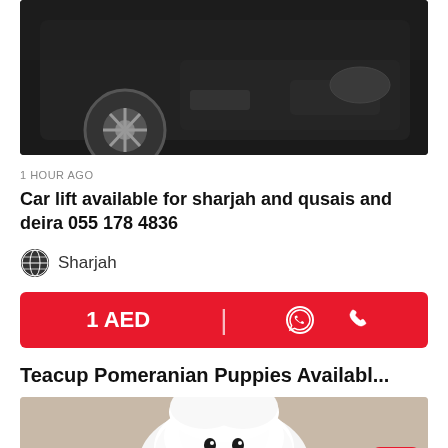[Figure (photo): Black car front/wheel area photo cropped at top]
1 HOUR AGO
Car lift available for sharjah and qusais and deira 055 178 4836
Sharjah
1 AED
Teacup Pomeranian Puppies Availabl...
[Figure (photo): White fluffy teacup Pomeranian puppy photo]